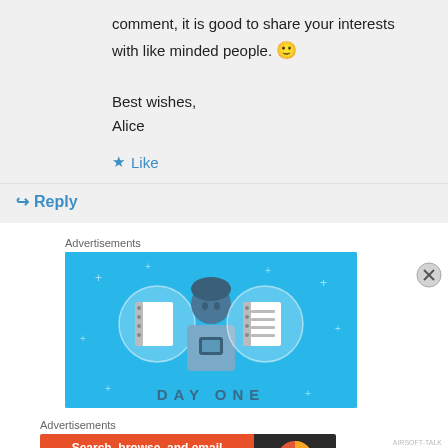comment, it is good to share your interests with like minded people. 🙂
Best wishes,
Alice
★ Like
↪ Reply
Advertisements
[Figure (illustration): Blue advertisement banner for Day One app showing a person figure with notebook icons and 'DAY ONE' text at the bottom]
Advertisements
[Figure (illustration): DuckDuckGo advertisement: 'Search, browse, and email with more privacy. All in One Free App' on orange background with DuckDuckGo logo on dark background]